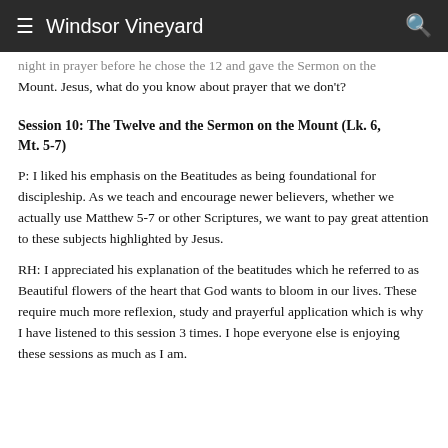Windsor Vineyard
night in prayer before he chose the 12 and gave the Sermon on the Mount.  Jesus, what do you know about prayer that we don't?
Session 10: The Twelve and the Sermon on the Mount (Lk. 6, Mt. 5-7)
P: I liked his emphasis on the Beatitudes as being foundational for discipleship. As we teach and encourage newer believers, whether we actually use Matthew 5-7 or other Scriptures, we want to pay great attention to these subjects highlighted by Jesus.
RH: I appreciated his explanation of the beatitudes which he referred to as Beautiful flowers of the heart that God wants to bloom in our lives.  These require much more reflexion, study and prayerful application which is why I have listened to this session 3 times. I hope everyone else is enjoying these sessions as much as I am.